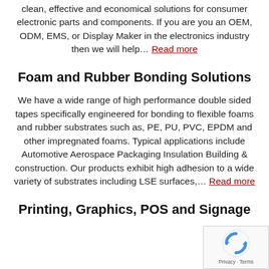clean, effective and economical solutions for consumer electronic parts and components. If you are you an OEM, ODM, EMS, or Display Maker in the electronics industry then we will help… Read more
Foam and Rubber Bonding Solutions
We have a wide range of high performance double sided tapes specifically engineered for bonding to flexible foams and rubber substrates such as, PE, PU, PVC, EPDM and other impregnated foams. Typical applications include Automotive Aerospace Packaging Insulation Building & construction. Our products exhibit high adhesion to a wide variety of substrates including LSE surfaces,… Read more
Printing, Graphics, POS and Signage
[Figure (other): reCAPTCHA badge with Privacy and Terms text]